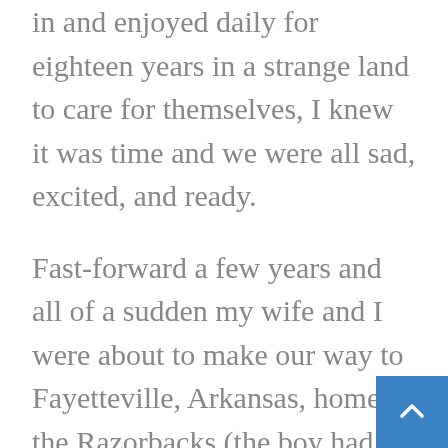in and enjoyed daily for eighteen years in a strange land to care for themselves, I knew it was time and we were all sad, excited, and ready.
Fast-forward a few years and all of a sudden my wife and I were about to make our way to Fayetteville, Arkansas, home of the Razorbacks (the boy had said “no” to the Ivy League option) to drop off our firstborn son. As the day neared, and much to my surprise, I had a growing and much different sense of responsibility in sending off a young man to college then I did a young woman. I knew college meant my son, like my daughters before him, would have a new and greater freedom to live and lead his life as he wanted, AND I knew that there were da…